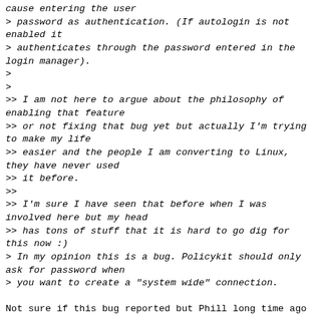cause entering the user
> password as authentication. (If autologin is not enabled it
> authenticates through the password entered in the login manager).
>
>
>> I am not here to argue about the philosophy of enabling that feature
>> or not fixing that bug yet but actually I'm trying to make my life
>> easier and the people I am converting to Linux, they have never used
>> it before.
>>
>> I'm sure I have seen that before when I was involved here but my head
>> has tons of stuff that it is hard to go dig for this now :)
> In my opinion this is a bug. Policykit should only ask for password when
> you want to create a "system wide" connection.

Not sure if this bug reported but Phill long time ago is the same as
this issue I'm asking about?

https://bugs.launchpad.net/ubuntu/+source/network-manager/+bug/964705

It is frustrating for someone like me so I can only